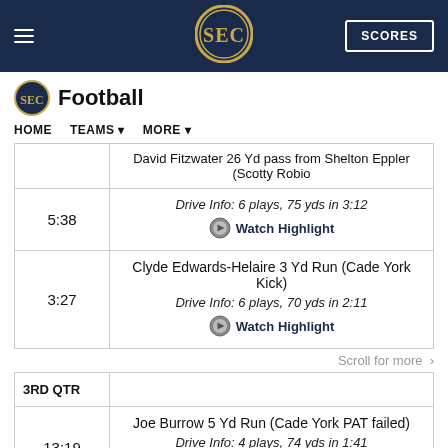SEC Football - HOME TEAMS MORE
| Time | Play |
| --- | --- |
|  | David Fitzwater 26 Yd pass from Shelton Eppler (Scotty Robio |
| 5:38 | Drive Info: 6 plays, 75 yds in 3:12 | Watch Highlight |
| 3:27 | Clyde Edwards-Helaire 3 Yd Run (Cade York Kick)
Drive Info: 6 plays, 70 yds in 2:11 | Watch Highlight |
| 3RD QTR |  |
| 13:19 | Joe Burrow 5 Yd Run (Cade York PAT failed)
Drive Info: 4 plays, 74 yds in 1:41 | Watch Highlight |
Scroll for more >